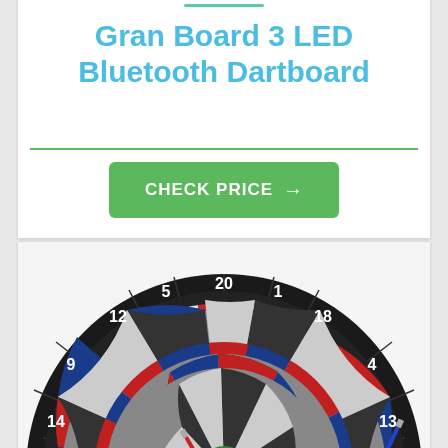Gran Board 3 LED Bluetooth Dartboard
CHECK PRICE →
[Figure (photo): A dartboard (Gran Board 3 LED Bluetooth Dartboard) showing the circular target with numbered sectors 1-20, red and blue scoring rings, and darts stuck in it. The board has a black outer ring with white numbers.]